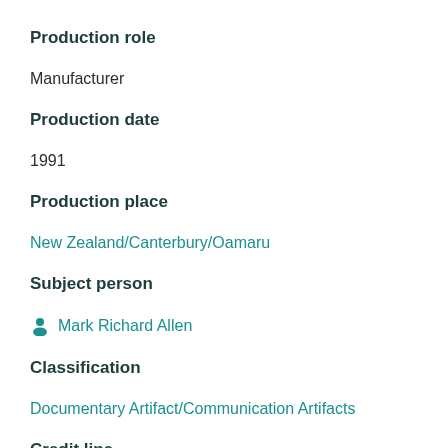Production role
Manufacturer
Production date
1991
Production place
New Zealand/Canterbury/Oamaru
Subject person
Mark Richard Allen
Classification
Documentary Artifact/Communication Artifacts
Credit line
This card was part of a large collection made by New Plymouth boy Andrew Moffat in 1991. Andrew